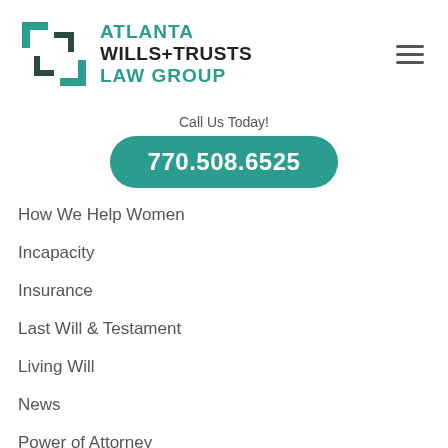[Figure (logo): Atlanta Wills + Trusts Law Group logo with teal and dark green square bracket icon]
Call Us Today!
770.508.6525
How We Help Women
Incapacity
Insurance
Last Will & Testament
Living Will
News
Power of Attorney
Probate